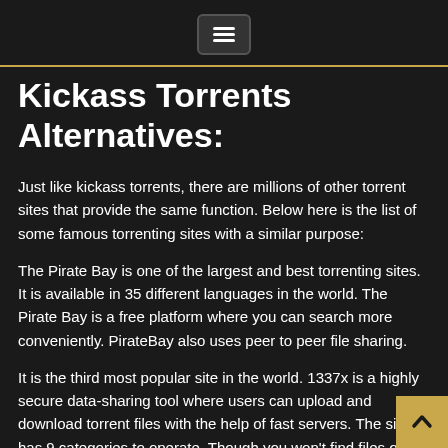[menu button]
Kickass Torrents Alternatives:
Just like kickass torrents, there are millions of other torrent sites that provide the same function. Below here is the list of some famous torrenting sites with a similar purpose:
The Pirate Bay is one of the largest and best torrenting sites. It is available in 35 different languages in the world. The Pirate Bay is a free platform where you can search more conveniently. PirateBay also uses peer to peer file sharing.
It is the third most popular site in the world. 1337x is a highly secure data-sharing tool where users can upload and download torrent files with the help of fast servers. The site has 9 categories to operate. Though you won't find files on this site on google because